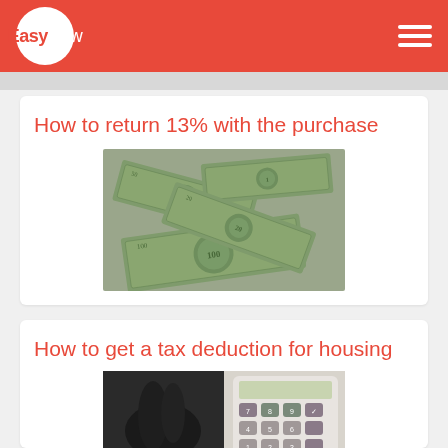EasyHow
How to return 13% with the purchase
[Figure (photo): Scattered US dollar bills of various denominations including $1, $20, $50, and $100 bills]
How to get a tax deduction for housing
[Figure (photo): A person's hands and a white calculator with dark buttons on a light background]